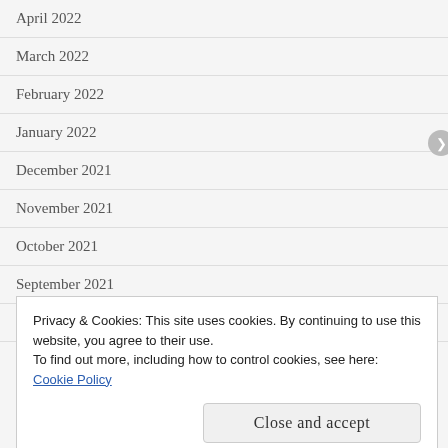April 2022
March 2022
February 2022
January 2022
December 2021
November 2021
October 2021
September 2021
August 2021
Privacy & Cookies: This site uses cookies. By continuing to use this website, you agree to their use.
To find out more, including how to control cookies, see here: Cookie Policy
Close and accept